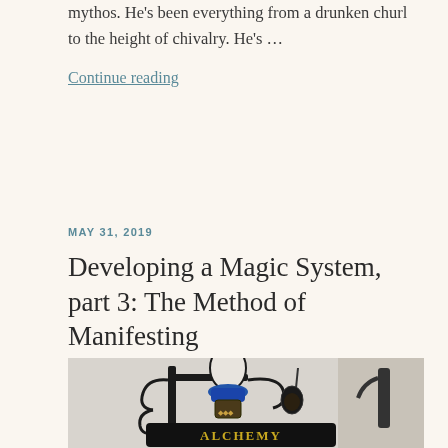mythos. He's been everything from a drunken churl to the height of chivalry. He's …
Continue reading
MAY 31, 2019
Developing a Magic System, part 3: The Method of Manifesting
[Figure (photo): Close-up photograph of a decorative wrought iron alchemist bar sign with a blue glass globe on top and ornate scrollwork, reading ALCHEMY BAR at the bottom.]